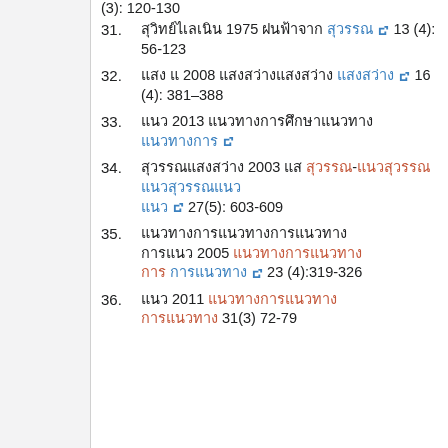31. [Thai text] 1975 [Thai text] 13 (4): 56-123
32. [Thai text] 2008 [Thai text] [Thai text] 16 (4): 381–388
33. [Thai text] 2013 [Thai text] [Thai link]
34. [Thai text] 2003 [Thai text]-[Thai text] [Thai text] 27(5): 603-609
35. [Thai text] [Thai text] 2005 [Thai text] [Thai text] 23 (4):319-326
36. [Thai text] 2011 [Thai text] [Thai text] 31(3) 72-79